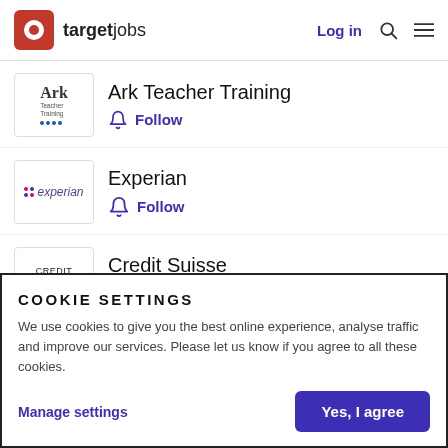[Figure (logo): targetjobs logo with red square icon and text, plus Log in link, search and menu icons]
Ark Teacher Training Follow
Experian Follow
Credit Suisse Follow
COOKIE SETTINGS
We use cookies to give you the best online experience, analyse traffic and improve our services. Please let us know if you agree to all these cookies.
Manage settings
Yes, I agree